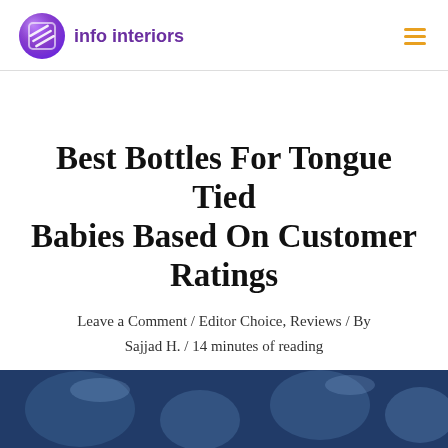info interiors
Best Bottles For Tongue Tied Babies Based On Customer Ratings
Leave a Comment / Editor Choice, Reviews / By Sajjad H. / 14 minutes of reading
[Figure (photo): A blue-tinted close-up photo of baby bottles]